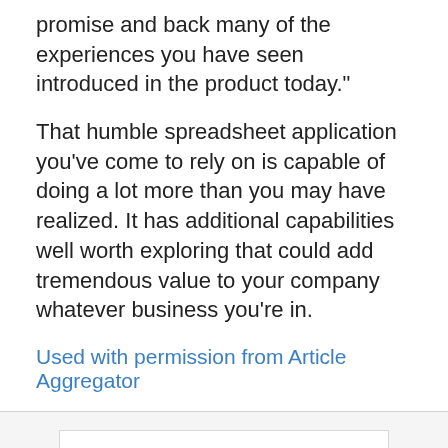promise and back many of the experiences you have seen introduced in the product today."
That humble spreadsheet application you've come to rely on is capable of doing a lot more than you may have realized. It has additional capabilities well worth exploring that could add tremendous value to your company whatever business you're in.
Used with permission from Article Aggregator
Related Posts
Many IOT Devices At Risk Due To DNS Vulnerability
Google Adds Feature To Help People Focus